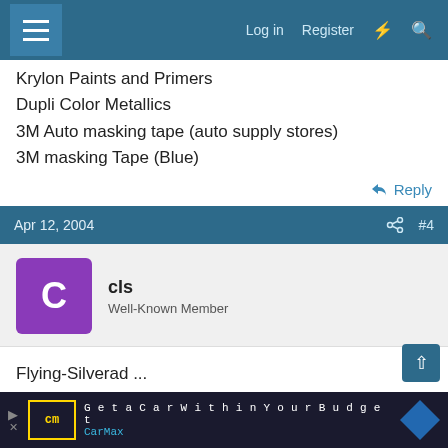Log in  Register
Krylon Paints and Primers
Dupli Color Metallics
3M Auto masking tape (auto supply stores)
3M masking Tape (Blue)
Reply
Apr 12, 2004  #4
cls
Well-Known Member
Flying-Silverad ...

gimme some advice on the Dupli-color. last week I used some of their metallic "anodized" green on a rocke
Get a Car Within Your Budget
CarMax